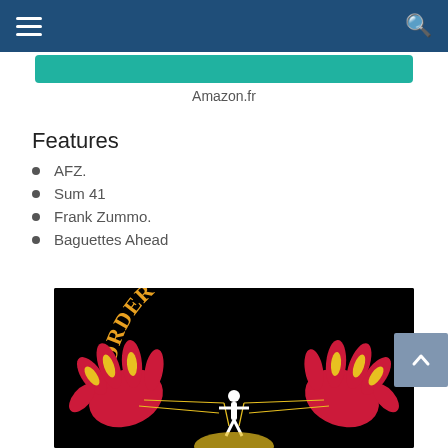Navigation bar with menu and search icons
Amazon.fr
Features
AFZ.
Sum 41
Frank Zummo.
Baguettes Ahead
[Figure (illustration): Album artwork for 'Order in Decline' by Sum 41. Black background with large red and yellow illustrated hands holding strings connected to a white silhouette figure, with the text 'ORDER IN DECLINE' in orange/yellow arc lettering at the top.]